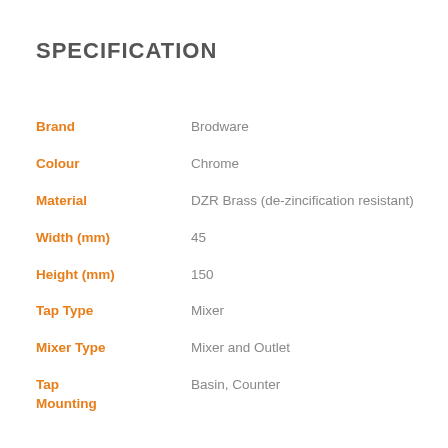SPECIFICATION
| Attribute | Value |
| --- | --- |
| Brand | Brodware |
| Colour | Chrome |
| Material | DZR Brass (de-zincification resistant) |
| Width (mm) | 45 |
| Height (mm) | 150 |
| Tap Type | Mixer |
| Mixer Type | Mixer and Outlet |
| Tap Mounting | Basin, Counter |